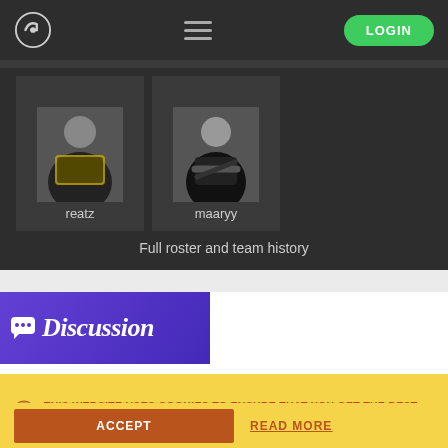[Figure (screenshot): Website navigation bar with logo, hamburger menu icon, and green LOGIN button]
[Figure (screenshot): Dark section showing two player cards with avatar photos labeled 'reatz' and 'maaryy', and a 'Full roster and team history' link]
Full roster and team history
[Figure (screenshot): Purple Discussion banner with speech bubble icon and italic 'Discussion' text]
You have to be logged in to comment.
THIS WEBSITE USES COOKIES TO ENSURE THAT YOU GET THE BEST EXPERIENCE
ACCEPT
READ MORE